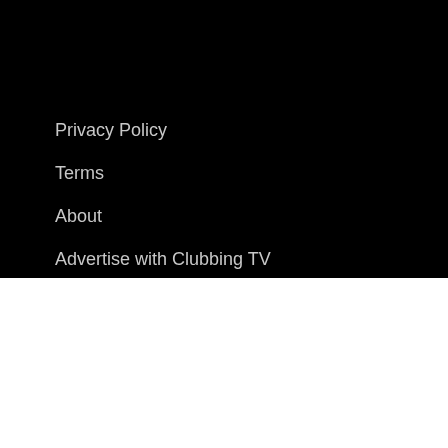Privacy Policy
Terms
About
Advertise with Clubbing TV
Contact
Support Ticket
We use cookies on our website to give you the most relevant experience by remembering your preferences and repeat visits. By clicking "Accept All", you consent to the use of ALL the cookies. However, you may visit "Cookie Settings" to provide a controlled consent.
Cookie Settings | Accept All | Reject All